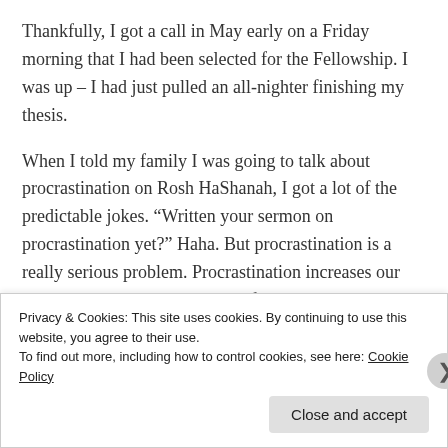Thankfully, I got a call in May early on a Friday morning that I had been selected for the Fellowship. I was up – I had just pulled an all-nighter finishing my thesis.
When I told my family I was going to talk about procrastination on Rosh HaShanah, I got a lot of the predictable jokes. “Written your sermon on procrastination yet?” Haha. But procrastination is a really serious problem. Procrastination increases our stress, jeopardizes our capacity for success, and inconveniences the lives of those around us. Procrastination is the most potent form of self-sabotage that
Privacy & Cookies: This site uses cookies. By continuing to use this website, you agree to their use.
To find out more, including how to control cookies, see here: Cookie Policy
Close and accept